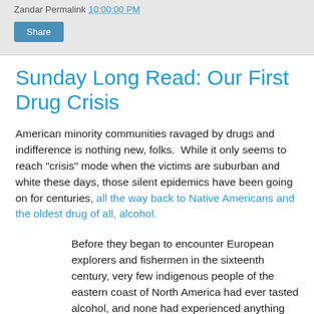Zandar Permalink 10:00:00 PM
Share
Sunday Long Read: Our First Drug Crisis
American minority communities ravaged by drugs and indifference is nothing new, folks.  While it only seems to reach "crisis" mode when the victims are suburban and white these days, those silent epidemics have been going on for centuries, all the way back to Native Americans and the oldest drug of all, alcohol.
Before they began to encounter European explorers and fishermen in the sixteenth century, very few indigenous people of the eastern coast of North America had ever tasted alcohol, and none had experienced anything more than the mild inebriation of fermented drinks used